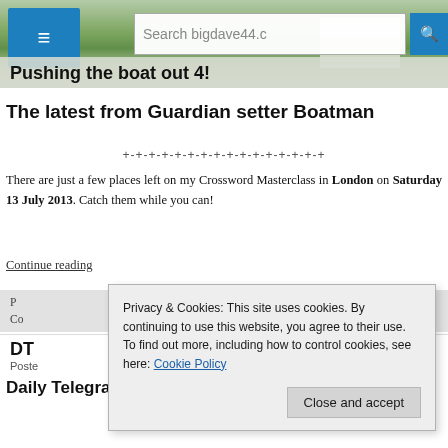Pushing the boat out 4!
The latest from Guardian setter Boatman
+-+-+-+-+-+-+-+-+-+-+-+-+-+-+-+
There are just a few places left on my Crossword Masterclass in London on Saturday 13 July 2013. Catch them while you can!
Continue reading
Privacy & Cookies: This site uses cookies. By continuing to use this website, you agree to their use.
To find out more, including how to control cookies, see here: Cookie Policy
Close and accept
DT
Posted
Daily Telegraph Cryptic No 27190